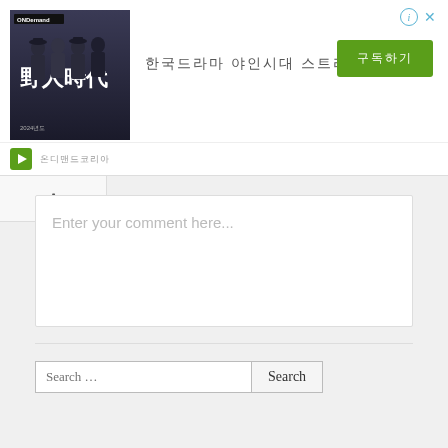[Figure (screenshot): Advertisement banner for ONDemand streaming service showing a Korean drama '野人時代' (Age of Savages). Features a movie poster image with men in suits, Korean text, and a green button.]
Enter your comment here...
Search …
Recent Posts
[Reading] 한국 드라마의 영어로 배우기.